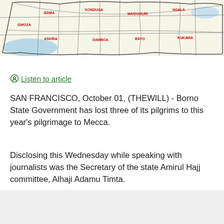[Figure (map): Map of Borno State, Nigeria showing district/LGA boundaries with red text labels and blue water bodies]
🎧 Listen to article
SAN FRANCISCO, October 01, (THEWILL) - Borno State Government has lost three of its pilgrims to this year's pilgrimage to Mecca.
Disclosing this Wednesday while speaking with journalists was the Secretary of the state Amirul Hajj committee, Alhaji Adamu Timta.